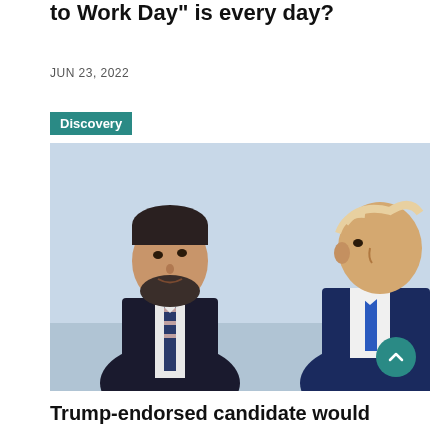to Work Day" is every day?
JUN 23, 2022
Discovery
[Figure (photo): Two men in suits facing each other: a bearded man on the left and an older man with blond hair on the right, outdoors against a light sky background.]
Trump-endorsed candidate would